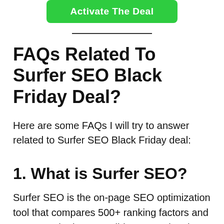[Figure (other): Green button with white bold text reading 'Activate The Deal']
FAQs Related To Surfer SEO Black Friday Deal?
Here are some FAQs I will try to answer related to Surfer SEO Black Friday deal:
1. What is Surfer SEO?
Surfer SEO is the on-page SEO optimization tool that compares 500+ ranking factors and suggests the best possible suggestion that ensures a higher ranking in the Search engine.